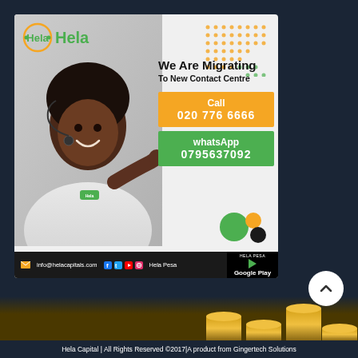[Figure (infographic): Hela Capital contact centre migration advertisement. Shows a smiling woman with headset pointing right, Hela logo top left, decorative dot grid top right, orange 'Call 020 776 6666' box, green 'whatsApp 0795637092' box, black bottom strip with email info@helacapitals.com, social media icons, Hela Pesa label, and Google Play button.]
[Figure (photo): Stack of gold/bronze coins at the bottom of the page, partially visible.]
Hela Capital | All Rights Reserved ©2017|A product from Gingertech Solutions